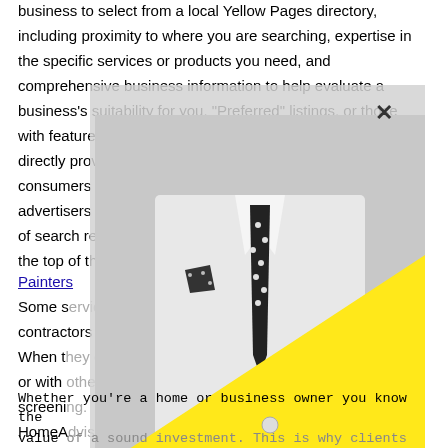business to select from a local Yellow Pages directory, including proximity to where you are searching, expertise in the specific services or products you need, and comprehensive business information to help evaluate a business's suitability for you. "Preferred" listings, or those with featured website buttons, indicate YP advertisers who directly provide information about their businesses to help consumers make more informed buying decisions. YP advertisers receive higher placement in the default ordering of search results and may appear in sponsored listings on the top of the page. Home Painters
Some services use independent contractors and offer "discounts". When they come to your account or with other screening. HomeAdvisors service professionals.
[Figure (photo): Black and white photo of a man in a white suit jacket with a black polka-dot tie and pocket square, overlaid with a large yellow triangle in the lower right portion of the image. A gray semi-transparent overlay with an X close button appears over the text behind the image.]
Whether you're a home or business owner you know the value of a sound investment. This is why clients to come to us for all their exterior needs. We can revitalize your home with a brand new coat of house